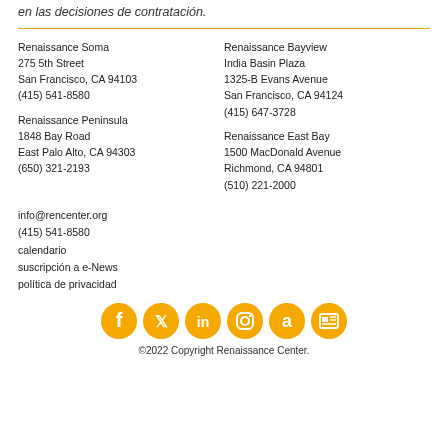en las decisiones de contratación.
Renaissance Soma
275 5th Street
San Francisco, CA 94103
(415) 541-8580
Renaissance Bayview
India Basin Plaza
1325-B Evans Avenue
San Francisco, CA 94124
(415) 647-3728
Renaissance Peninsula
1848 Bay Road
East Palo Alto, CA 94303
(650) 321-2193
Renaissance East Bay
1500 MacDonald Avenue
Richmond, CA 94801
(510) 221-2000
info@rencenter.org
(415) 541-8580
calendario
suscripción a e-News
política de privacidad
[Figure (infographic): Six circular golden social media icons: Facebook, Twitter, LinkedIn, Instagram, Amazon, and a news/newspaper icon, arranged in a row.]
©2022 Copyright Renaissance Center.